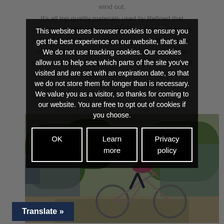wind out. It's all top quality materials used by Refined that sketch and return to share well keeping you all b and looking stylish It's a modern and sleek tight fit makes me feel like a racer, cool and stylish. This is a well-made, comfortable jersey that is super fun to ride in. It has little details on the purple area, doodles and carto... every fun and eye catching
This website uses browser cookies to ensure you get the best experience on our website, that's all. We do not use tracking cookies. Our cookies allow us to help see which parts of the site you've visited and are set with an expiration date, so that we do not store them for longer than is necessary. We value you as a visitor, so thanks for coming to our website. You are free to opt out of cookies if you choose.
OK | Learn more | Privacy policy
[Figure (photo): A woman cyclist riding a road bike, wearing a pink/magenta cycling jersey and helmet, dark bib shorts, photographed outdoors in an urban/suburban setting with trees and buildings in the background.]
Translate »